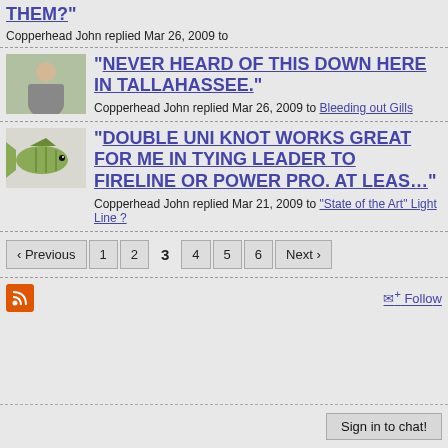" ... " Copperhead John replied Mar 26, 2009 to
"NEVER HEARD OF THIS DOWN HERE IN TALLAHASSEE." Copperhead John replied Mar 26, 2009 to Bleeding out Gills
"DOUBLE UNI KNOT WORKS GREAT FOR ME IN TYING LEADER TO FIRELINE OR POWER PRO. AT LEAS..." Copperhead John replied Mar 21, 2009 to "State of the Art" Light Line ?
Pagination: Previous 1 2 3 4 5 6 Next
RSS icon, Follow link, Sign in to chat!